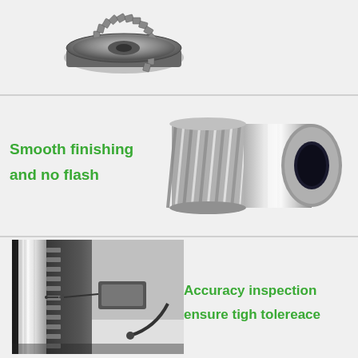[Figure (photo): Close-up photo of a metallic spur gear with teeth, viewed from an angle, showing precision machining on a gray background.]
[Figure (photo): Close-up photo of a shiny metallic cylindrical helical gear/spindle part with smooth mirror finish, showing precision turning and no flash on the surface.]
Smooth finishing and no flash
[Figure (photo): Photo of a cylindrical gear shaft being measured with a precision inspection/measurement tool or caliper, ensuring tight dimensional tolerance.]
Accuracy inspection ensure tigh tolereace